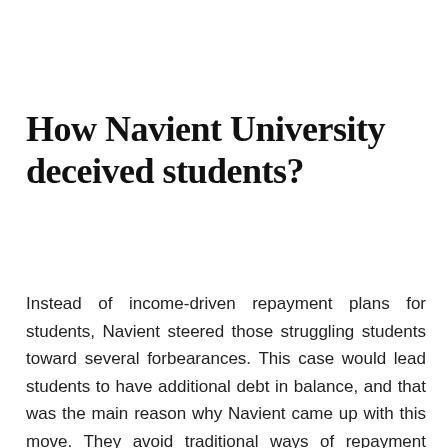How Navient University deceived students?
Instead of income-driven repayment plans for students, Navient steered those struggling students toward several forbearances. This case would lead students to have additional debt in balance, and that was the main reason why Navient came up with this move. They avoid traditional ways of repayment plans and switch to add new rules which are binding for students in case they enroll in the Navient student loan repayment program. Besides these, Navient tried to obscure the loan repayment process and stop students from re-enrolling and completing annual certifications